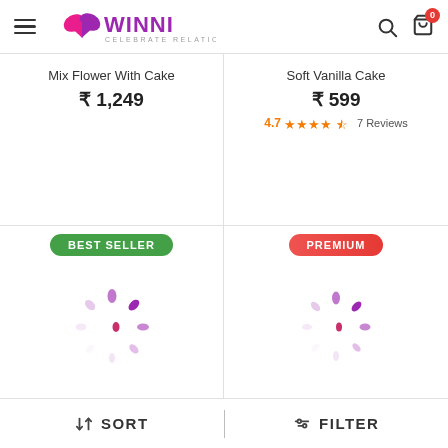WINNI - CELEBRATE RELATIONS
Mix Flower With Cake
₹ 1,249
Soft Vanilla Cake
₹ 599
4.7★★★★★ 7 Reviews
[Figure (infographic): BEST SELLER badge with loading spinner below]
[Figure (infographic): PREMIUM badge with loading spinner below]
SORT   FILTER